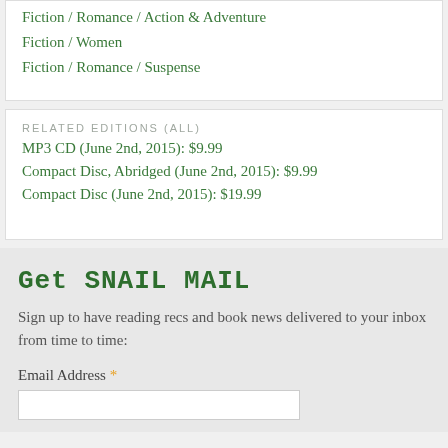Fiction / Romance / Action & Adventure
Fiction / Women
Fiction / Romance / Suspense
RELATED EDITIONS (ALL)
MP3 CD (June 2nd, 2015): $9.99
Compact Disc, Abridged (June 2nd, 2015): $9.99
Compact Disc (June 2nd, 2015): $19.99
Get SNAIL MAIL
Sign up to have reading recs and book news delivered to your inbox from time to time:
Email Address *